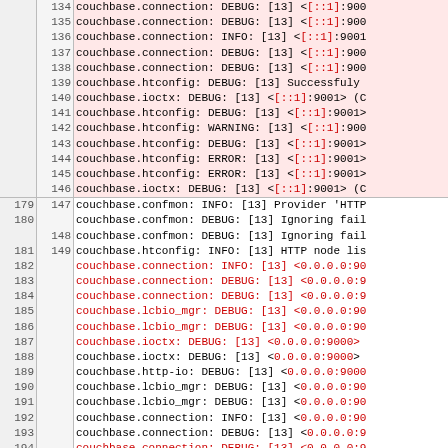| left_line | right_line | log_content |
| --- | --- | --- |
|  | 134 | couchbase.connection: DEBUG: [13] <[::1]:900 |
|  | 135 | couchbase.connection: DEBUG: [13] <[::1]:900 |
|  | 136 | couchbase.connection: INFO: [13] <[::1]:9001 |
|  | 137 | couchbase.connection: DEBUG: [13] <[::1]:900 |
|  | 138 | couchbase.connection: DEBUG: [13] <[::1]:900 |
|  | 139 | couchbase.htconfig: DEBUG: [13] Successfuly |
|  | 140 | couchbase.ioctx: DEBUG: [13] <[::1]:9001> (C |
|  | 141 | couchbase.htconfig: DEBUG: [13] <[::1]:9001> |
|  | 142 | couchbase.htconfig: WARNING: [13] <[::1]:900 |
|  | 143 | couchbase.htconfig: DEBUG: [13] <[::1]:9001> |
|  | 144 | couchbase.htconfig: ERROR: [13] <[::1]:9001> |
|  | 145 | couchbase.htconfig: ERROR: [13] <[::1]:9001> |
|  | 146 | couchbase.ioctx: DEBUG: [13] <[::1]:9001> (C |
| 179 | 147 | couchbase.confmon: INFO: [13] Provider 'HTTP |
| 180 |  | couchbase.confmon: DEBUG: [13] Ignoring fail |
|  | 148 | couchbase.confmon: DEBUG: [13] Ignoring fail |
| 181 | 149 | couchbase.htconfig: INFO: [13] HTTP node lis |
| 182 |  | couchbase.connection: INFO: [13] <0.0.0.0:90 |
| 183 |  | couchbase.connection: DEBUG: [13] <0.0.0.0:9 |
| 184 |  | couchbase.connection: DEBUG: [13] <0.0.0.0:9 |
| 185 |  | couchbase.lcbio_mgr: DEBUG: [13] <0.0.0.0:90 |
| 186 |  | couchbase.lcbio_mgr: DEBUG: [13] <0.0.0.0:90 |
| 187 |  | couchbase.ioctx: DEBUG: [13] <0.0.0.0:9000> |
| 188 |  | couchbase.ioctx: DEBUG: [13] <0.0.0.0:9000> |
| 189 |  | couchbase.http-io: DEBUG: [13] <0.0.0.0:9000 |
| 190 |  | couchbase.lcbio_mgr: DEBUG: [13] <0.0.0.0:90 |
| 191 |  | couchbase.lcbio_mgr: DEBUG: [13] <0.0.0.0:90 |
| 192 |  | couchbase.connection: INFO: [13] <0.0.0.0:90 |
| 193 |  | couchbase.connection: DEBUG: [13] <0.0.0.0:9 |
| 194 |  | couchbase.connection: DEBUG: [13] <0.0.0.0:9 |